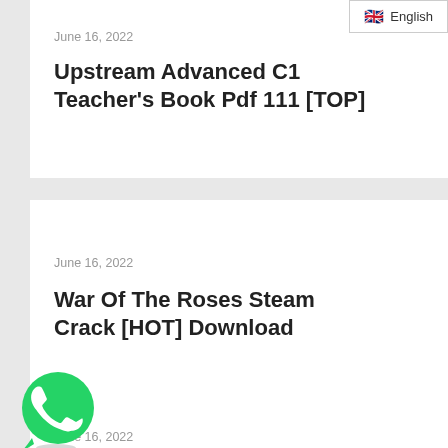English
June 16, 2022
Upstream Advanced C1 Teacher's Book Pdf 111 [TOP]
June 16, 2022
War Of The Roses Steam Crack [HOT] Download
[Figure (logo): WhatsApp green phone icon logo]
June 16, 2022
LabVIEW...